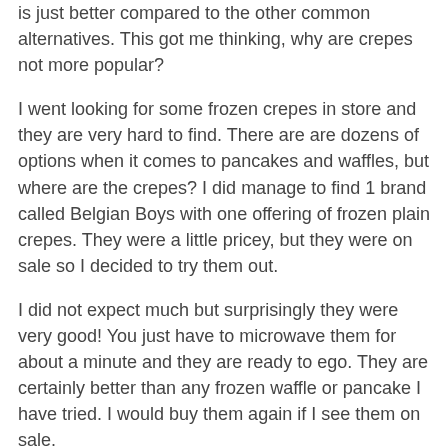is just better compared to the other common alternatives. This got me thinking, why are crepes not more popular?
I went looking for some frozen crepes in store and they are very hard to find. There are are dozens of options when it comes to pancakes and waffles, but where are the crepes? I did manage to find 1 brand called Belgian Boys with one offering of frozen plain crepes. They were a little pricey, but they were on sale so I decided to try them out.
I did not expect much but surprisingly they were very good! You just have to microwave them for about a minute and they are ready to ego. They are certainly better than any frozen waffle or pancake I have tried. I would buy them again if I see them on sale.
If you are not familiar with crepes, I recommend trying them out next time you go out for breakfast. If you are able to find the frozen crepes in store, I also recommend them as well.
As for the answer to the original question, I'm not sure exactly why crepes are not as popular as pancakes and